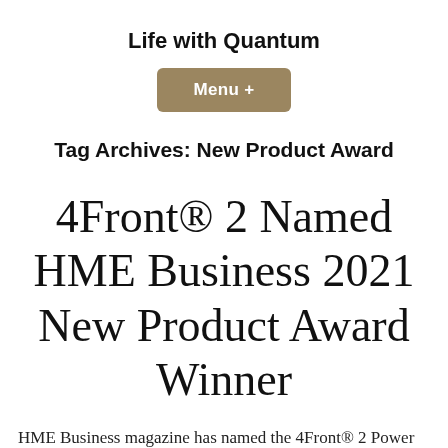Life with Quantum
[Figure (other): Menu + button, brown/tan rounded rectangle navigation button]
Tag Archives: New Product Award
4Front® 2 Named HME Business 2021 New Product Award Winner
HME Business magazine has named the 4Front® 2 Power Chair one of the winners of its 2021 New Product